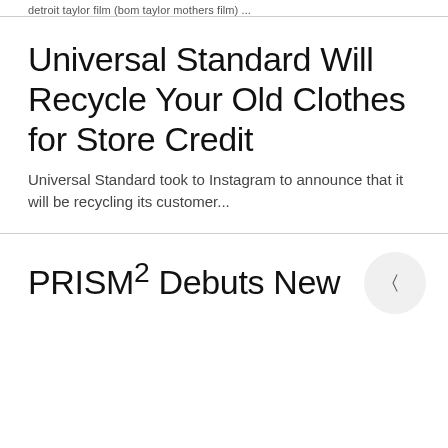detroit taylor film (bom taylor mothers film) ...
Universal Standard Will Recycle Your Old Clothes for Store Credit
Universal Standard took to Instagram to announce that it will be recycling its customer...
PRISM² Debuts New